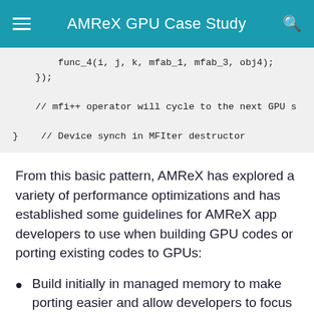AMReX GPU Case Study
func_4(i, j, k, mfab_1, mfab_3, obj4);
    });

    // mfi++ operator will cycle to the next GPU s

}    // Device synch in MFIter destructor
From this basic pattern, AMReX has explored a variety of performance optimizations and has established some guidelines for AMReX app developers to use when building GPU codes or porting existing codes to GPUs:
Build initially in managed memory to make porting easier and allow developers to focus on the most critical features first.
Whenever possible, put data on the device and leave it there. Additional features, such as Asynchoronous I/O, have been developed in AMReX to help ensure that t...